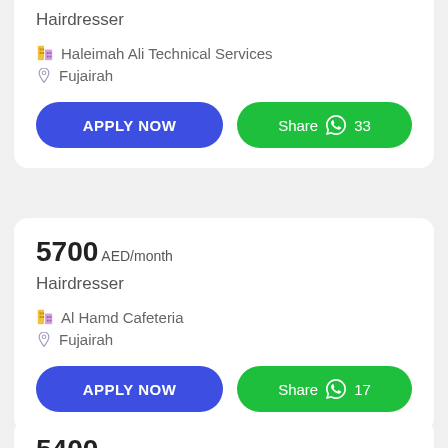Hairdresser
Haleimah Ali Technical Services
Fujairah
APPLY NOW
Share 33
5700 AED/month
Hairdresser
Al Hamd Cafeteria
Fujairah
APPLY NOW
Share 17
5400